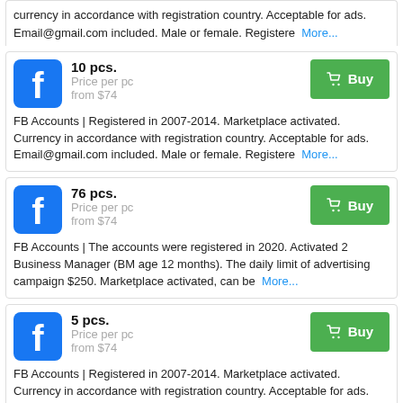currency in accordance with registration country. Acceptable for ads. Email@gmail.com included. Male or female. Registere More...
10 pcs. Price per pc from $74 FB Accounts | Registered in 2007-2014. Marketplace activated. Currency in accordance with registration country. Acceptable for ads. Email@gmail.com included. Male or female. Registere More...
76 pcs. Price per pc from $74 FB Accounts | The accounts were registered in 2020. Activated 2 Business Manager (BM age 12 months). The daily limit of advertising campaign $250. Marketplace activated, can be More...
5 pcs. Price per pc from $74 FB Accounts | Registered in 2007-2014. Marketplace activated. Currency in accordance with registration country. Acceptable for ads. Email@gmail.com included. Male or female. Registere More...